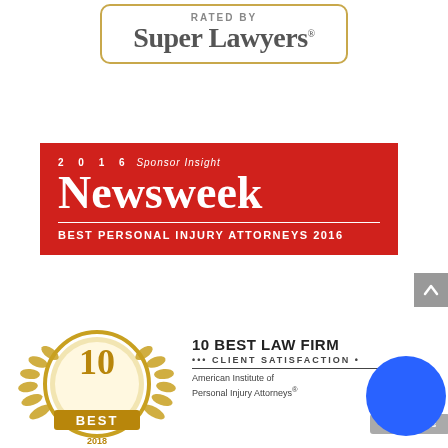[Figure (logo): Super Lawyers rated badge with gold border and serif text]
[Figure (logo): Newsweek 2016 Sponsor Insight - Best Personal Injury Attorneys 2016 badge on red background]
[Figure (logo): 10 Best Law Firm - Client Satisfaction 2018 gold badge with laurel wreath]
10 BEST LAW FIRM ••• CLIENT SATISFACTION • Chat with us American Institute of Personal Injury Attorneys